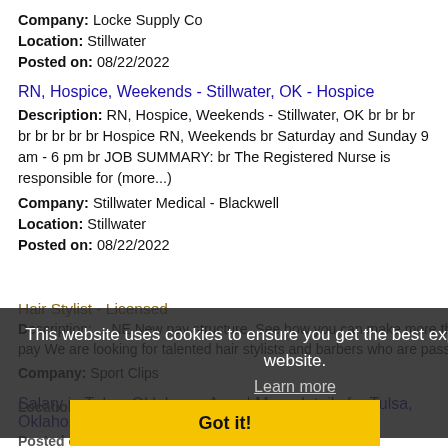Company: Locke Supply Co
Location: Stillwater
Posted on: 08/22/2022
RN, Hospice, Weekends - Stillwater, OK - Hospice
Description: RN, Hospice, Weekends - Stillwater, OK br br br br br br br br Hospice RN, Weekends br Saturday and Sunday 9 am - 6 pm br JOB SUMMARY: br The Registered Nurse is responsible for (more...)
Company: Stillwater Medical - Blackwell
Location: Stillwater
Posted on: 08/22/2022
Hair Stylist - Licensed
Description: ... NE New pay structure. See how you can make more than our previous base pay We are looking for talented hair stylists and barbers who are passionate (more...)
Company: Sport Clips
Location: Stillwater
Posted on: 08/22/2022
This website uses cookies to ensure you get the best experience on our website.
Learn more
Got it!
Salary in Tulsa, Oklahoma Area | More details for Tulsa, Oklahoma Jobs |Salary